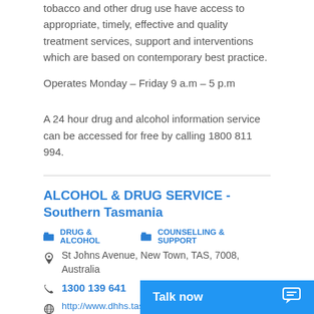tobacco and other drug use have access to appropriate, timely, effective and quality treatment services, support and interventions which are based on contemporary best practice.
Operates Monday – Friday 9 a.m – 5 p.m
A 24 hour drug and alcohol information service can be accessed for free by calling 1800 811 994.
ALCOHOL & DRUG SERVICE - Southern Tasmania
DRUG & ALCOHOL   COUNSELLING & SUPPORT
St Johns Avenue, New Town, TAS, 7008, Australia
1300 139 641
http://www.dhhs.tas.gov.au/mentalhealth/alcohol...
This is a State govern... Department of Health &